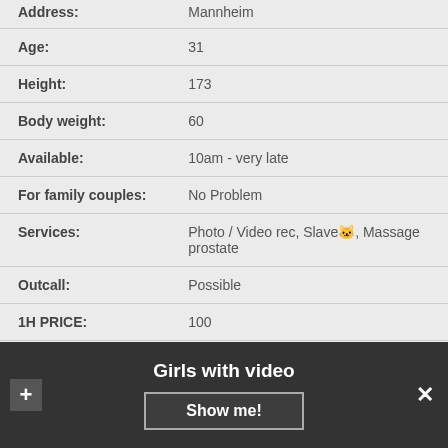| Field | Value |
| --- | --- |
| Address: | Mannheim |
| Age: | 31 |
| Height: | 173 |
| Body weight: | 60 |
| Available: | 10am - very late |
| For family couples: | No Problem |
| Services: | Photo / Video rec, Slave😺, Massage prostate |
| Outcall: | Possible |
| 1H PRICE: | 100 |
| NIGHT: | 470$ |
Girls with video
Show me!